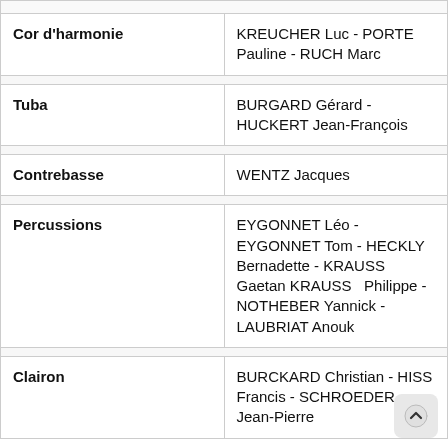| Instrument | Musicians |
| --- | --- |
| Cor d'harmonie | KREUCHER Luc  -  PORTE Pauline  -  RUCH Marc |
| Tuba | BURGARD Gérard  -  HUCKERT Jean-François |
| Contrebasse | WENTZ Jacques |
| Percussions | EYGONNET Léo  -  EYGONNET Tom  -  HECKLY Bernadette  -  KRAUSS Gaetan  KRAUSS  Philippe  -  NOTHEBER Yannick  -  LAUBRIAT Anouk |
| Clairon | BURCKARD Christian  -  HISS Francis  -  SCHROEDER Jean-Pierre |